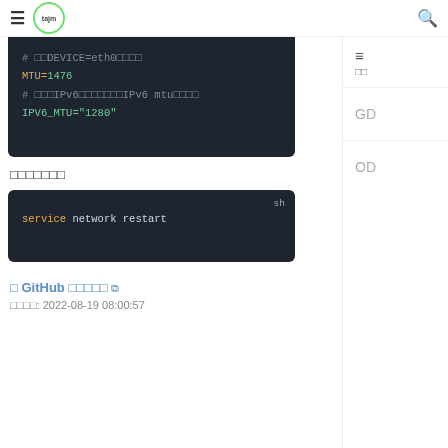≡  tajm  🔍
[Figure (screenshot): Code block showing network configuration snippet: # DEVICE=eth0 comment, MTU=1476, # IPv6 comment, IPV6_MTU="1280"]
□□□□□□□
[Figure (screenshot): Shell code block showing: service network restart]
□ GitHub □□□□□ ↗
□□□□: 2022-08-19 08:00:57